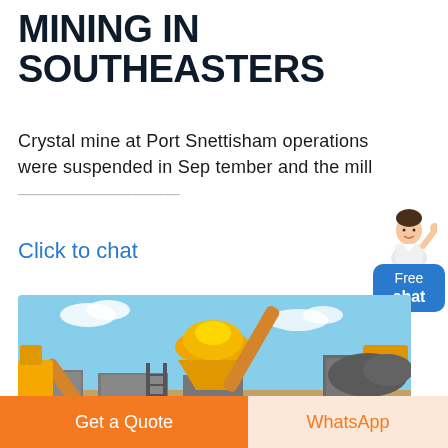MINING IN SOUTHEASTERS
Crystal mine at Port Snettisham operations were suspended in Sep tember and the mill
Click to chat
[Figure (photo): Outdoor mining/crushing plant with yellow cone crusher, conveyor belts, concrete platforms, and dirt ground under blue sky]
Get a Quote
WhatsApp